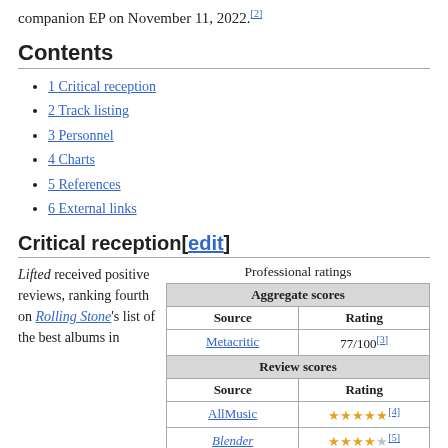companion EP on November 11, 2022.[2]
Contents
1 Critical reception
2 Track listing
3 Personnel
4 Charts
5 References
6 External links
Critical reception[edit]
Lifted received positive reviews, ranking fourth on Rolling Stone's list of the best albums in
| Source | Rating |
| --- | --- |
| Aggregate scores |  |
| Source | Rating |
| Metacritic | 77/100[3] |
| Review scores |  |
| Source | Rating |
| AllMusic | ★★★★★[4] |
| Blender | ★★★★★[5] |
| The Guardian | ★★★★[6] |